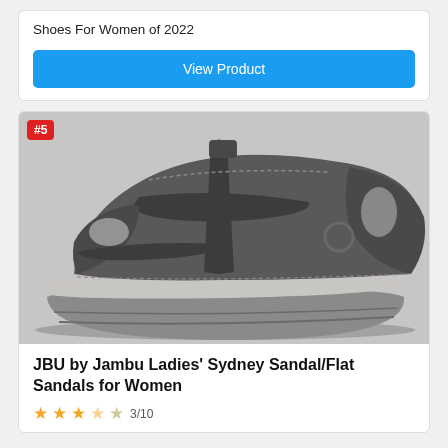Shoes For Women of 2022
View Product
[Figure (photo): Gray JBU by Jambu Ladies' Sydney Sandal/Flat sandal with straps and chunky sole, shown from the side on a white background. A red badge reading #5 is in the top-left corner.]
JBU by Jambu Ladies' Sydney Sandal/Flat Sandals for Women
3/10 star rating (partial stars shown)